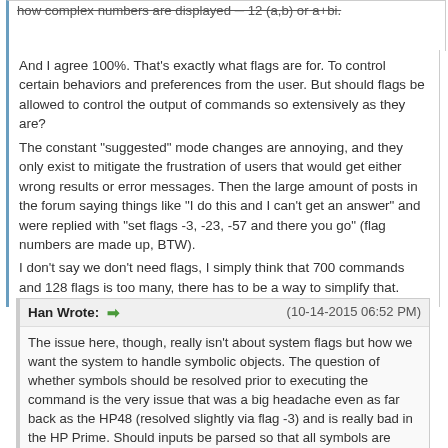how complex numbers are displayed - 12 (a,b) or a+bi.
And I agree 100%. That's exactly what flags are for. To control certain behaviors and preferences from the user. But should flags be allowed to control the output of commands so extensively as they are?
The constant "suggested" mode changes are annoying, and they only exist to mitigate the frustration of users that would get either wrong results or error messages. Then the large amount of posts in the forum saying things like "I do this and I can't get an answer" and were replied with "set flags -3, -23, -57 and there you go" (flag numbers are made up, BTW).
I don't say we don't need flags, I simply think that 700 commands and 128 flags is too many, there has to be a way to simplify that.
Han Wrote: (10-14-2015 06:52 PM)
The issue here, though, really isn't about system flags but how we want the system to handle symbolic objects. The question of whether symbols should be resolved prior to executing the command is the very issue that was a big headache even as far back as the HP48 (resolved slightly via flag -3) and is really bad in the HP Prime. Should inputs be parsed so that all symbols are resolved prior to passing to a command? Or should the command leave some/all of the symbols as they are?